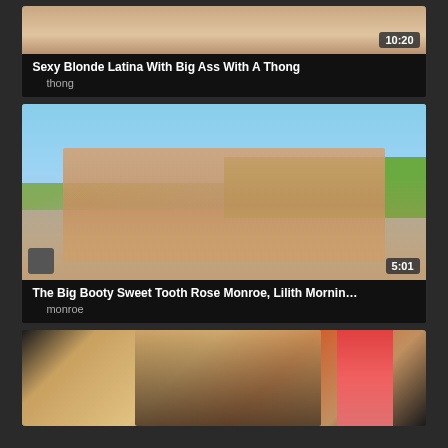[Figure (screenshot): Video thumbnail for first card, cropped top portion showing skin tones]
Sexy Blonde Latina With Big Ass With A Thong
thong
[Figure (photo): Video thumbnail showing two women from behind in thongs on outdoor street, green lawn and blue sky visible, duration badge 5:01]
The Big Booty Sweet Tooth Rose Monroe, Lilith Mornin…
monroe
[Figure (photo): Partial video thumbnail showing woman in fishnet top and dark skirt against colorful background]